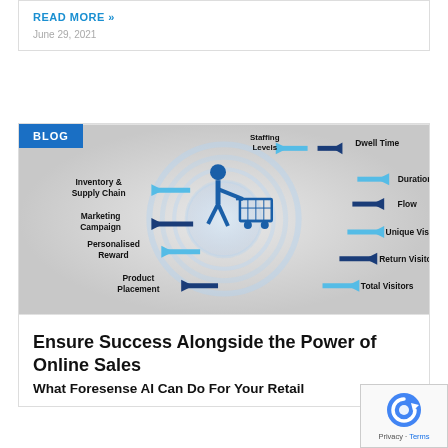READ MORE »
June 29, 2021
[Figure (infographic): Retail AI infographic showing a shopper with a cart at center, surrounded by circular arrows pointing to: Staffing Levels, Dwell Time, Duration, Flow, Unique Visitor, Return Visitor, Total Visitors (partial), Product Placement, Personalised Reward, Marketing Campaign, Inventory & Supply Chain. BLOG badge top-left.]
Ensure Success Alongside the Power of Online Sales
What Foresense AI Can Do For Your Retail